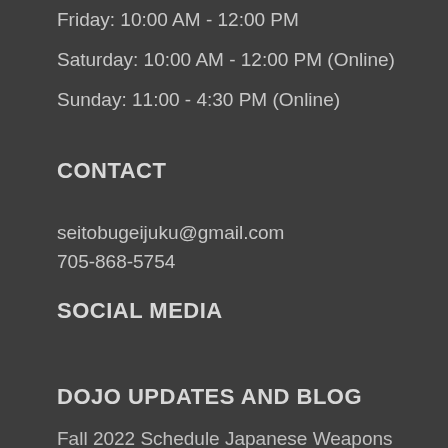Friday: 10:00 AM - 12:00 PM
Saturday: 10:00 AM - 12:00 PM (Online)
Sunday: 11:00 - 4:30 PM (Online)
CONTACT
seitobugeijuku@gmail.com
705-868-5754
SOCIAL MEDIA
DOJO UPDATES AND BLOG
Fall 2022 Schedule Japanese Weapons Classes!!